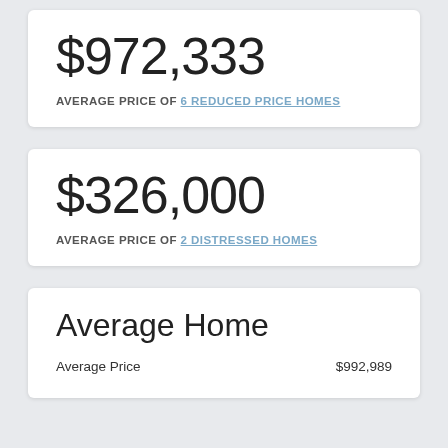$972,333
AVERAGE PRICE OF 6 REDUCED PRICE HOMES
$326,000
AVERAGE PRICE OF 2 DISTRESSED HOMES
Average Home
Average Price $992,989